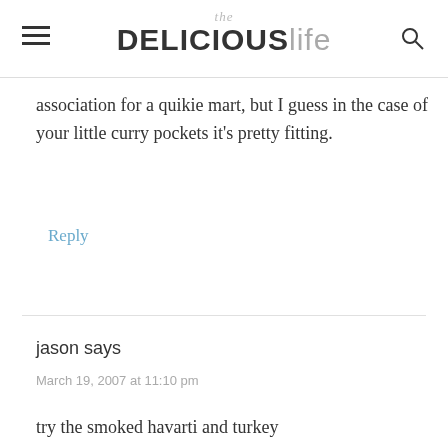the DELICIOUS life
association for a quikie mart, but I guess in the case of your little curry pockets it's pretty fitting.
Reply
jason says
March 19, 2007 at 11:10 pm
try the smoked havarti and turkey